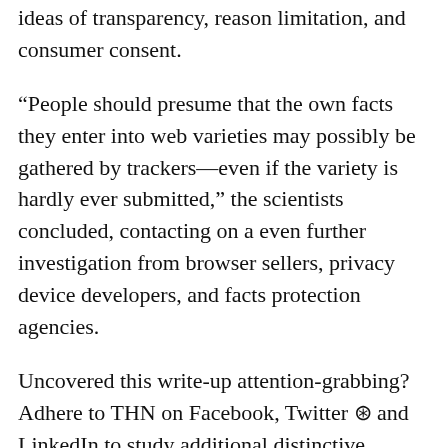ideas of transparency, reason limitation, and consumer consent.
“People should presume that the own facts they enter into web varieties may possibly be gathered by trackers—even if the variety is hardly ever submitted,” the scientists concluded, contacting on a even further investigation from browser sellers, privacy device developers, and facts protection agencies.
Uncovered this write-up attention-grabbing? Adhere to THN on Facebook, Twitter ⊛ and LinkedIn to study additional distinctive content material we article.